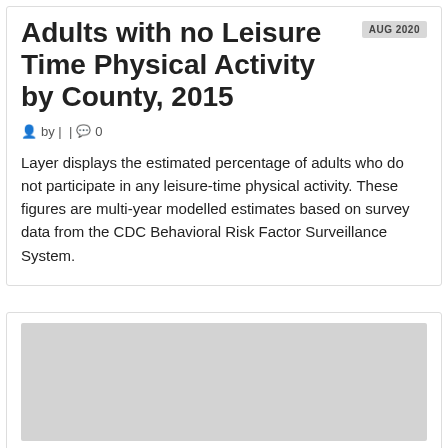Adults with no Leisure Time Physical Activity by County, 2015
by |  |  0
Layer displays the estimated percentage of adults who do not participate in any leisure-time physical activity. These figures are multi-year modelled estimates based on survey data from the CDC Behavioral Risk Factor Surveillance System.
[Figure (other): Gray placeholder image block]